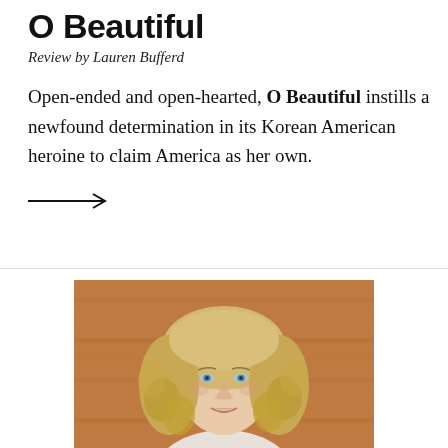O Beautiful
Review by Lauren Bufferd
Open-ended and open-hearted, O Beautiful instills a newfound determination in its Korean American heroine to claim America as her own.
[Figure (other): Arrow pointing right →]
[Figure (photo): Portrait of a woman with long curly blonde hair, blue eyes, wearing a white top, photographed against a warm wooden background.]